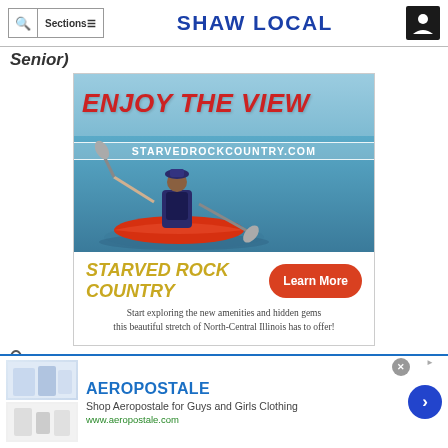Sections  SHAW LOCAL
Senior)
[Figure (photo): Advertisement for Starved Rock Country showing a kayaker on water with text ENJOY THE VIEW and STARVEDROCKCOUNTRY.COM, plus a Learn More button and tagline: Start exploring the new amenities and hidden gems this beautiful stretch of North-Central Illinois has to offer!]
1. aaron Hansford, Texas A&M (6-2, 239, Redshirt
[Figure (photo): Aeropostale advertisement banner at bottom: Shop Aeropostale for Guys and Girls Clothing, www.aeropostale.com, with clothing images and a blue arrow button]